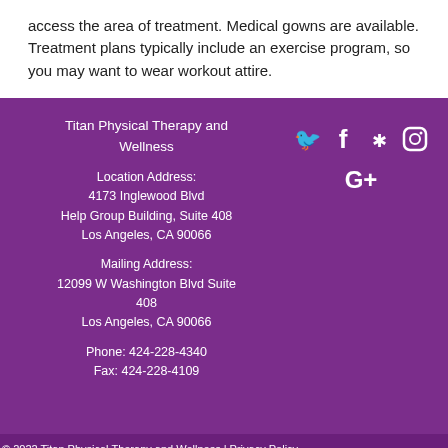A: Please dress in comfortable clothing so that we can easily access the area of treatment. Medical gowns are available. Treatment plans typically include an exercise program, so you may want to wear workout attire.
Titan Physical Therapy and Wellness

Location Address:
4173 Inglewood Blvd
Help Group Building, Suite 408
Los Angeles, CA 90066

Mailing Address:
12099 W Washington Blvd Suite 408
Los Angeles, CA 90066

Phone: 424-228-4340
Fax: 424-228-4109
[Figure (other): Social media icons: Twitter, Facebook, Yelp, Instagram, Google+]
© 2022 Titan Physical Therapy and Wellness | Privacy Policy